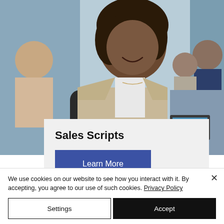[Figure (photo): A smiling woman in a beige blazer sitting in an office or conference setting, with other people in the background.]
Sales Scripts
Learn More
Sales Innovator creates
We use cookies on our website to see how you interact with it. By accepting, you agree to our use of such cookies. Privacy Policy
Settings
Accept